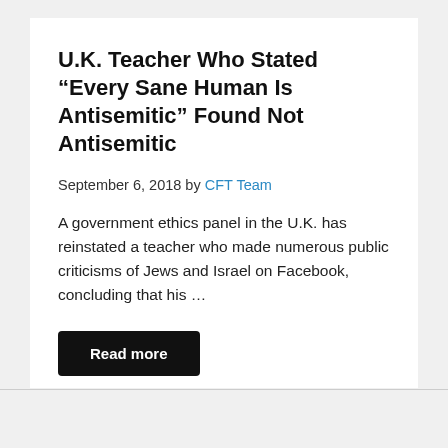U.K. Teacher Who Stated “Every Sane Human Is Antisemitic” Found Not Antisemitic
September 6, 2018 by CFT Team
A government ethics panel in the U.K. has reinstated a teacher who made numerous public criticisms of Jews and Israel on Facebook, concluding that his …
Read more